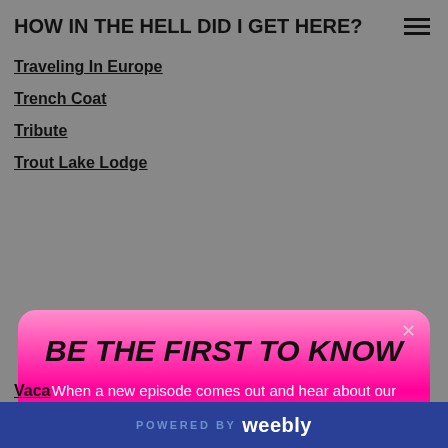HOW IN THE HELL DID I GET HERE?
Traveling In Europe
Trench Coat
Tribute
Trout Lake Lodge
[Figure (infographic): Modal popup with gradient pink background. Title: 'BE THE FIRST TO KNOW'. Body text: 'When a new episode comes out and hear about our special promotions.' Button: 'Join Now!']
Vaca
Vacation
Vacations
Van
POWERED BY weebly